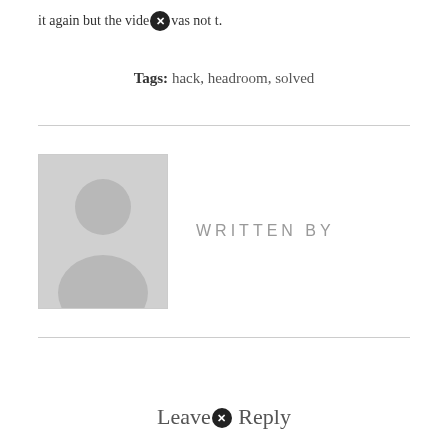it again but the vide⊗was not t.
Tags: hack, headroom, solved
WRITTEN BY
[Figure (illustration): Generic user avatar placeholder image: grey square with white silhouette of a person]
Leave⊗ Reply